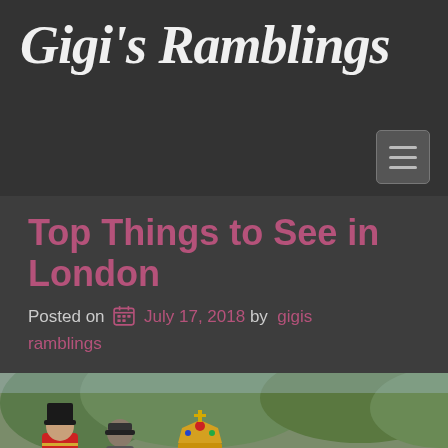Gigi's Ramblings
Top Things to See in London
Posted on  July 17, 2018 by  gigis ramblings
[Figure (photo): Royal procession photo showing a person in red livery uniform on horseback and passengers inside an ornate gold royal carriage, with a crown visible on top of the carriage, green trees in background.]